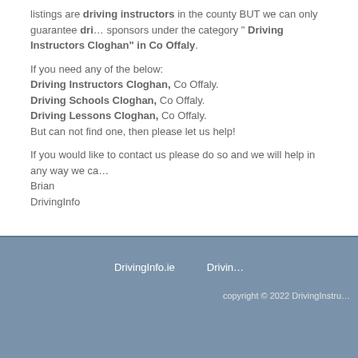listings are driving instructors in the county BUT we can only guarantee dri... sponsors under the category " Driving Instructors Cloghan" in Co Offaly.
If you need any of the below:
Driving Instructors Cloghan, Co Offaly.
Driving Schools Cloghan, Co Offaly.
Driving Lessons Cloghan, Co Offaly.
But can not find one, then please let us help!
If you would like to contact us please do so and we will help in any way we ca...
Brian
DrivingInfo
DrivingInfo.ie   Drivin...   copyright © 2022 DrivingInstru...